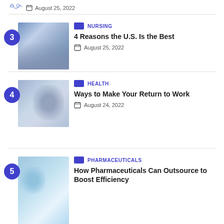August 25, 2022
[Figure (photo): Woman wearing a face mask in an urban outdoor setting]
NURSING
4 Reasons the U.S. Is the Best
August 25, 2022
[Figure (photo): Person from behind in a crowded city street]
HEALTH
Ways to Make Your Return to Work
August 24, 2022
[Figure (photo): Pharmaceutical / lab setting with gloved hands and vials]
PHARMACEUTICALS
How Pharmaceuticals Can Outsource to Boost Efficiency